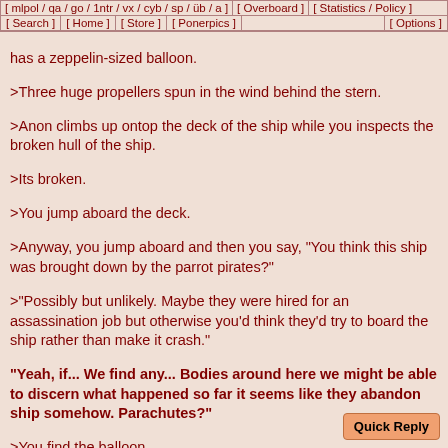[ mlpol / qa / go / 1ntr / vx / cyb / sp / üb / a ][ Overboard ][ Statistics / Policy ]
[ Search ][ Home ][ Store ][ Ponerpics ][ Options ]
has a zeppelin-sized balloon.
>Three huge propellers spun in the wind behind the stern.
>Anon climbs up ontop the deck of the ship while you inspects the broken hull of the ship.
>Its broken.
>You jump aboard the deck.
>Anyway, you jump aboard and then you say, "You think this ship was brought down by the parrot pirates?"
>"Possibly but unlikely. Maybe they were hired for an assassination job but otherwise you'd think they'd try to board the ship rather than make it crash."
"Yeah, if... We find any... Bodies around here we might be able to discern what happened so far it seems like they abandon ship somehow. Parachutes?"
>You find the balloon.
>It's attached to a pipe protruding out of the middle of deck.
>Clearly, the pipe inflates it somehow.
>Now, it's deflated and is partly buried on the other side of the ship by sand.
>Anon opens a door that opens to a staircase leading down into the ship. "Mm-hm."
>You follow him down and find machinery for the both the fan inflating the ballon and the propellers in the back.
>Anon crawls around under pipes and pistons.
>He whistles.
>"The hull might be broken but the machinery is barely scratched. I would actually be able to get this baby up and running..."
>You roll your eyes. "Yeah, right."